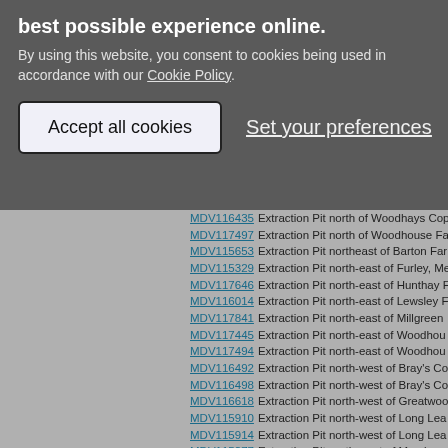best possible experience online. By using this website, you consent to cookies being used in accordance with our Cookie Policy.
Accept all cookies
Set your preferences
MDV116435 Extraction Pit north of Woodhays Cop...
MDV117497 Extraction Pit north of Woodhouse Fa...
MDV115653 Extraction Pit northeast of Barton Far...
MDV115329 Extraction Pit north-east of Furley, Me...
MDV117646 Extraction Pit north-east of Hunthay F...
MDV116014 Extraction Pit north-east of Lewsley F...
MDV117841 Extraction Pit north-east of Millgreen ...
MDV117445 Extraction Pit north-east of Woodhou...
MDV117494 Extraction Pit north-east of Woodhou...
MDV116492 Extraction Pit north-west of Bray's Co...
MDV116498 Extraction Pit north-west of Bray's Co...
MDV116618 Extraction Pit north-west of Greatwoo...
MDV115910 Extraction Pit north-west of Long Lea...
MDV115914 Extraction Pit north-west of Long Lea...
MDV115377 Extraction Pit north-west of Membury...
MDV117649 Extraction Pit on Hunthay Lane, Axmi...
MDV116621 Extraction Pit or Field Boundary sout...
MDV116407 Extraction Pit south of Baggaton Far...
MDV116440 Extraction Pit south of Bray's Farm, ...
MDV115242 Extraction Pit south of Brinscomb...